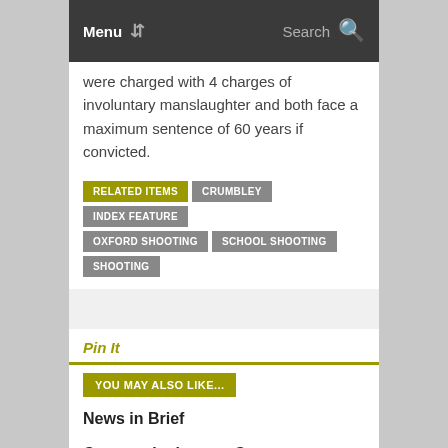Menu  Search
were charged with 4 charges of involuntary manslaughter and both face a maximum sentence of 60 years if convicted.
RELATED ITEMS
CRUMBLEY
INDEX FEATURE
OXFORD SHOOTING
SCHOOL SHOOTING
SHOOTING
Pin It
YOU MAY ALSO LIKE...
News in Brief
Community honors Courtney Brousseau
“The Fallout” addresses the issue of school shootings